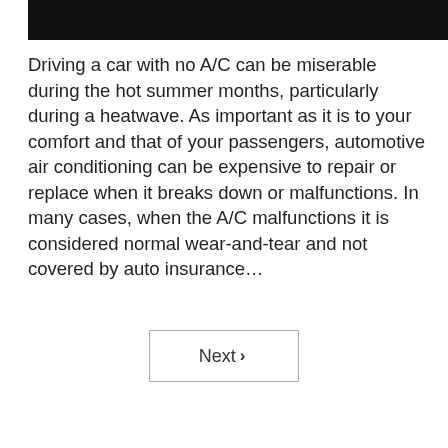[Figure (photo): Dark/black image banner at the top of the page, appears to be a car interior or exterior photo cropped to a banner strip.]
Driving a car with no A/C can be miserable during the hot summer months, particularly during a heatwave. As important as it is to your comfort and that of your passengers, automotive air conditioning can be expensive to repair or replace when it breaks down or malfunctions. In many cases, when the A/C malfunctions it is considered normal wear-and-tear and not covered by auto insurance…
Next ›